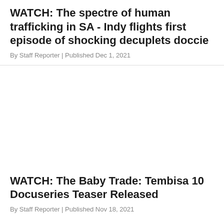WATCH: The spectre of human trafficking in SA - Indy flights first episode of shocking decuplets doccie
By Staff Reporter | Published Dec 1, 2021
[Figure (photo): Image placeholder area (white/blank) associated with the first article about human trafficking decuplets documentary]
WATCH: The Baby Trade: Tembisa 10 Docuseries Teaser Released
By Staff Reporter | Published Nov 18, 2021